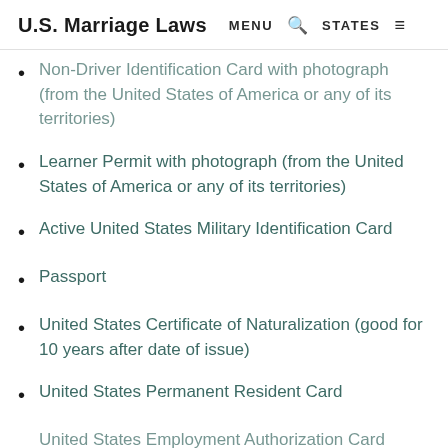U.S. Marriage Laws  MENU  🔍  STATES  ≡
Non-Driver Identification Card with photograph (from the United States of America or any of its territories)
Learner Permit with photograph (from the United States of America or any of its territories)
Active United States Military Identification Card
Passport
United States Certificate of Naturalization (good for 10 years after date of issue)
United States Permanent Resident Card
United States Employment Authorization Card